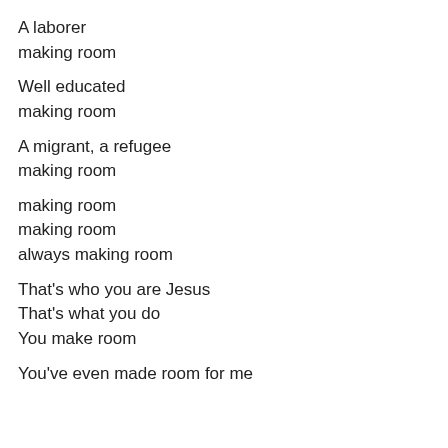A laborer
making room
Well educated
making room
A migrant, a refugee
making room
making room
making room
always making room
That's who you are Jesus
That's what you do
You make room
You've even made room for me